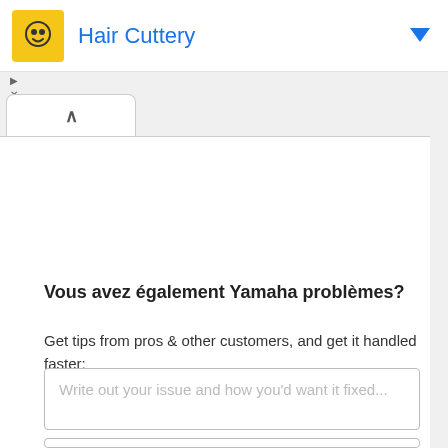Hair Cuttery
Vous avez également Yamaha problèmes?
Get tips from pros & other customers, and get it handled faster:
Write out your issue and how you'd want it fixed...